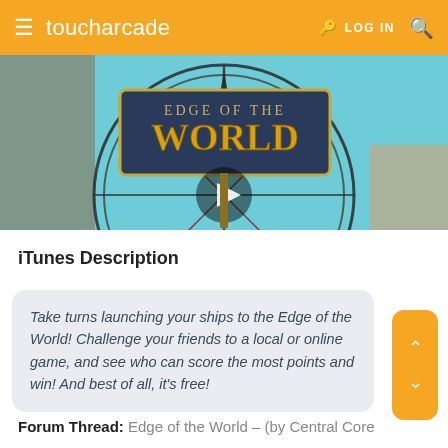toucharcade | LOG IN
[Figure (screenshot): Game video thumbnail showing 'Edge of the World' title with compass rose graphic and play button overlay]
iTunes Description
Take turns launching your ships to the Edge of the World! Challenge your friends to a local or online game, and see who can score the most points and win! And best of all, it's free!
Forum Thread: Edge of the World – (by Central Core